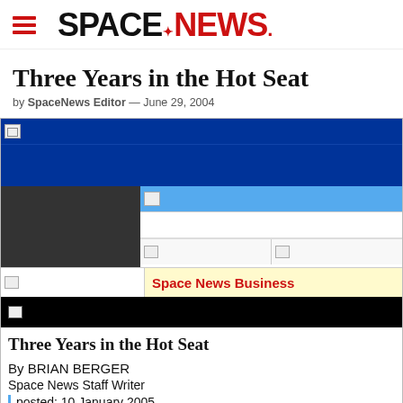SPACENEWS
Three Years in the Hot Seat
by SpaceNews Editor — June 29, 2004
[Figure (screenshot): Embedded SpaceNews article layout showing navigation bars, Space News Business section label in red on yellow background, article title 'Three Years in the Hot Seat', byline 'By BRIAN BERGER', 'Space News Staff Writer', and 'posted: 10 January 2005']
Space News Business
Three Years in the Hot Seat
By BRIAN BERGER
Space News Staff Writer
posted: 10 January 2005